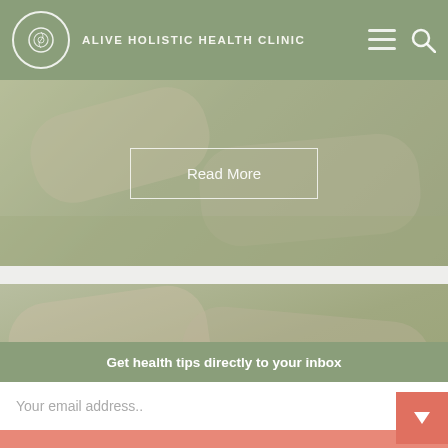ALIVE HOLISTIC HEALTH CLINIC
[Figure (photo): Massage therapy image with Read More button overlay]
[Figure (photo): Second massage therapy image with Registered Massage Therapy text overlay]
Get health tips directly to your inbox
Your email address..
Subscribe